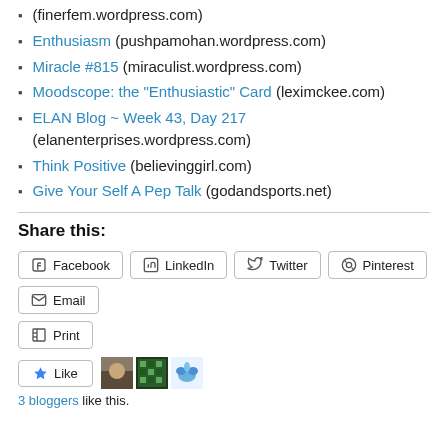(finerfem.wordpress.com)
Enthusiasm (pushpamohan.wordpress.com)
Miracle #815 (miraculist.wordpress.com)
Moodscope: the “Enthusiastic” Card (leximckee.com)
ELAN Blog ~ Week 43, Day 217 (elanenterprises.wordpress.com)
Think Positive (believinggirl.com)
Give Your Self A Pep Talk (godandsports.net)
Share this:
Facebook  LinkedIn  Twitter  Pinterest  Email  Print
Like
3 bloggers like this.